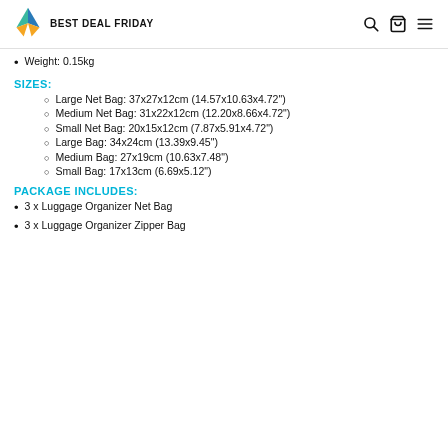BEST DEAL FRIDAY
Weight: 0.15kg
SIZES:
Large Net Bag: 37x27x12cm (14.57x10.63x4.72")
Medium Net Bag: 31x22x12cm (12.20x8.66x4.72")
Small Net Bag: 20x15x12cm (7.87x5.91x4.72")
Large Bag: 34x24cm (13.39x9.45")
Medium Bag: 27x19cm (10.63x7.48")
Small Bag: 17x13cm (6.69x5.12")
PACKAGE INCLUDES:
3 x Luggage Organizer Net Bag
3 x Luggage Organizer Zipper Bag